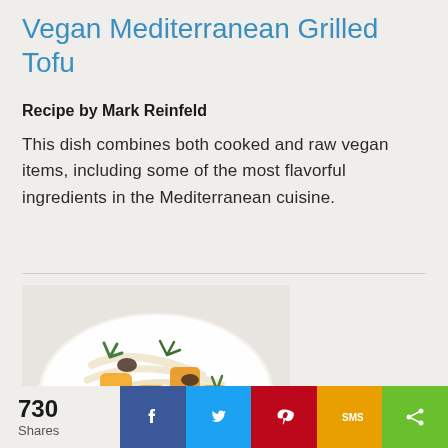Vegan Mediterranean Grilled Tofu
Recipe by Mark Reinfeld
This dish combines both cooked and raw vegan items, including some of the most flavorful ingredients in the Mediterranean cuisine.
[Figure (photo): A bowl of Mediterranean salad with grilled tofu, orange segments, fennel slices, olives, and fresh herbs.]
730 Shares